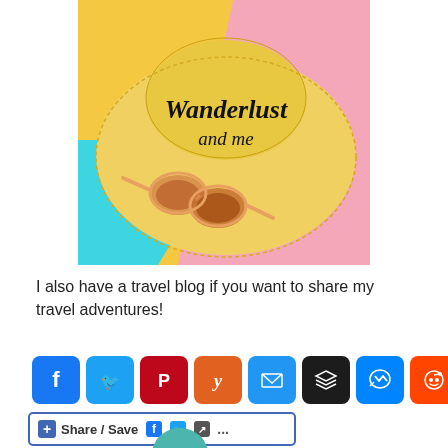[Figure (illustration): A yellow straw sun hat with text 'Wanderlust and me' written in black script on it, with two pairs of sunglasses leaning against it, on a colorful background of yellow, teal/cyan, and pink sections.]
I also have a travel blog if you want to share my travel adventures!
[Figure (infographic): Row of 8 social media sharing icons: Facebook (blue), Twitter (light blue), Pinterest (dark red), Yummly (orange), Email (blue), Buffer/layers (dark), Messenger (blue), Reddit (orange-red). Below that a 'Share / Save' button bar with Facebook and Twitter mini icons and a share arrow icon and ellipsis.]